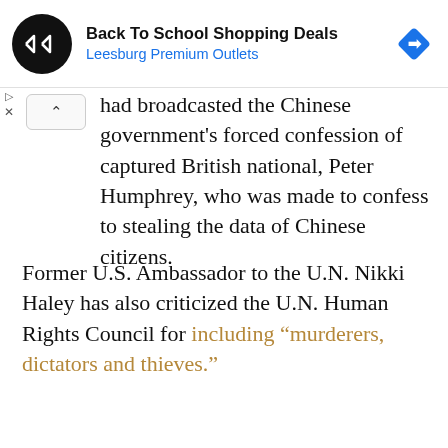[Figure (screenshot): Advertisement banner: Back To School Shopping Deals at Leesburg Premium Outlets, with circular black logo containing double arrow symbol and a blue navigation/directions diamond icon on the right]
had broadcasted the Chinese government's forced confession of captured British national, Peter Humphrey, who was made to confess to stealing the data of Chinese citizens.
Former U.S. Ambassador to the U.N. Nikki Haley has also criticized the U.N. Human Rights Council for including “murderers, dictators and thieves.”